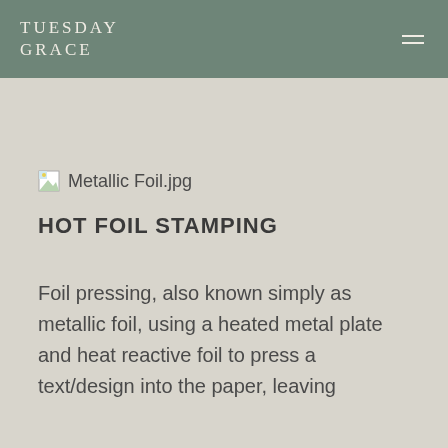TUESDAY GRACE
[Figure (other): Broken image placeholder labeled Metallic Foil.jpg]
HOT FOIL STAMPING
Foil pressing, also known simply as metallic foil, using a heated metal plate and heat reactive foil to press a text/design into the paper, leaving foil...